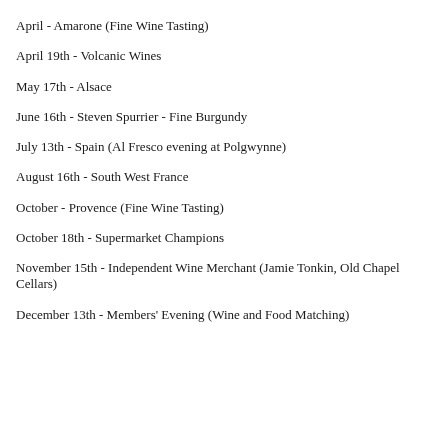April - Amarone (Fine Wine Tasting)
April 19th - Volcanic Wines
May 17th - Alsace
June 16th - Steven Spurrier - Fine Burgundy
July 13th - Spain (Al Fresco evening at Polgwynne)
August 16th - South West France
October - Provence (Fine Wine Tasting)
October 18th - Supermarket Champions
November 15th - Independent Wine Merchant (Jamie Tonkin, Old Chapel Cellars)
December 13th - Members' Evening (Wine and Food Matching)